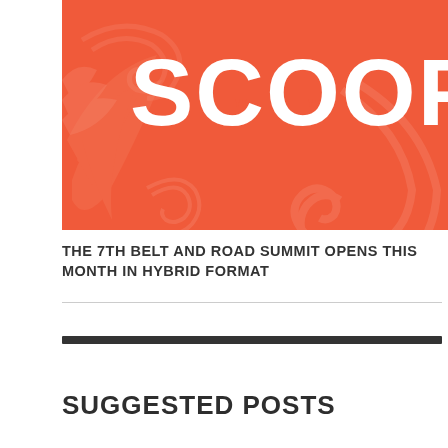[Figure (logo): Scoop logo on orange/red background with Maori-style koru swirl patterns. White bold text 'SCOOP' with stylized O letters containing comma/apostrophe shapes.]
THE 7TH BELT AND ROAD SUMMIT OPENS THIS MONTH IN HYBRID FORMAT
SUGGESTED POSTS